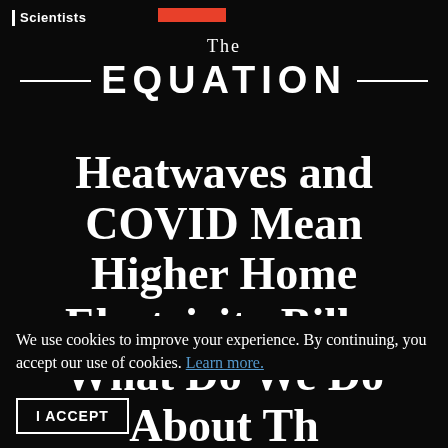Union of Concerned Scientists
The EQUATION
Heatwaves and COVID Mean Higher Home Electricity Bills; What Do We Do About Them?
We use cookies to improve your experience. By continuing, you accept our use of cookies. Learn more.
I ACCEPT